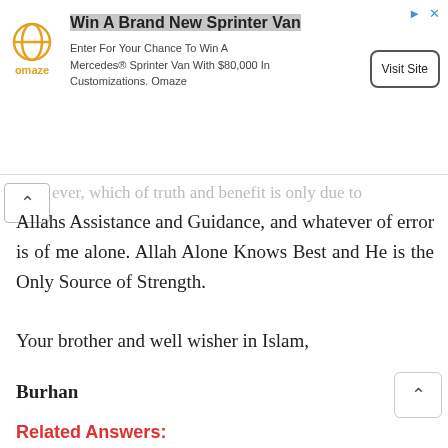[Figure (other): Advertisement banner for Omaze featuring logo, 'Win A Brand New Sprinter Van' headline, description text, and 'Visit Site' button]
Allahs Assistance and Guidance, and whatever of error is of me alone. Allah Alone Knows Best and He is the Only Source of Strength.
Your brother and well wisher in Islam,
Burhan
Related Answers:
if i visit someone's house and they are having